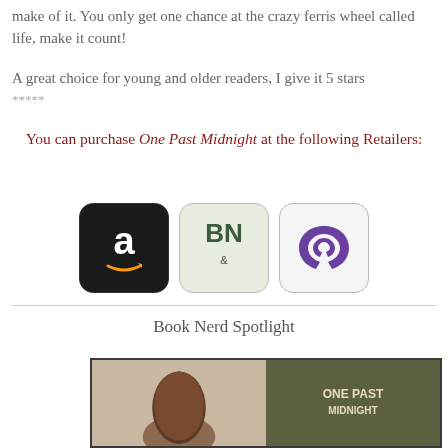make of it. You only get one chance at the crazy ferris wheel called life, make it count!
A great choice for young and older readers, I give it 5 stars *****
You can purchase One Past Midnight at the following Retailers:
[Figure (logo): Amazon logo icon - black rounded square with white lowercase 'a' and orange smile arrow]
[Figure (logo): Barnes & Noble logo icon - light green rounded square with 'BN' letters]
[Figure (logo): Scribd logo icon - white rounded square with purple circular arrow/document icon]
Book Nerd Spotlight
[Figure (photo): Book cover for One Past Midnight showing a person with dark hair on the left and the title text on the right on a dark olive/green background]